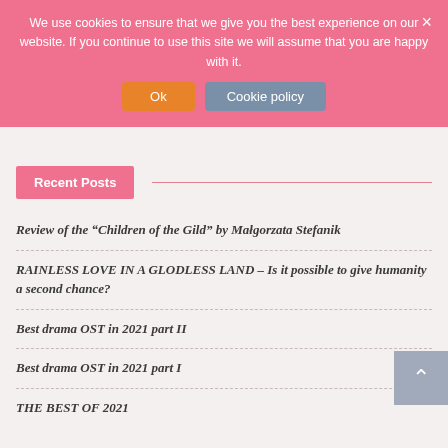We use cookies to ensure that we give you the best experience on our website. If you continue to use this site we will assume that you are happy with it.
Ok   Cookie policy
Recent Posts
Review of the “Children of the Gild” by Małgorzata Stefanik
RAINLESS LOVE IN A GLODLESS LAND – Is it possible to give humanity a second chance?
Best drama OST in 2021 part II
Best drama OST in 2021 part I
THE BEST OF 2021